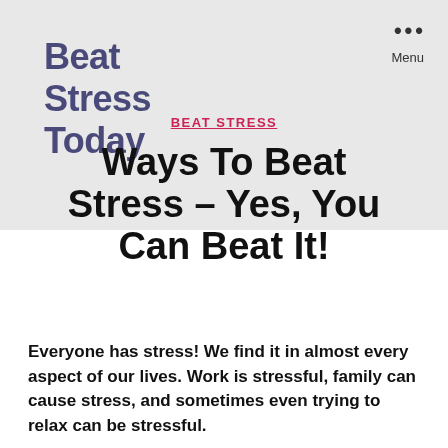Beat Stress Today
BEAT STRESS
Ways To Beat Stress – Yes, You Can Beat It!
Everyone has stress! We find it in almost every aspect of our lives. Work is stressful, family can cause stress, and sometimes even trying to relax can be stressful.